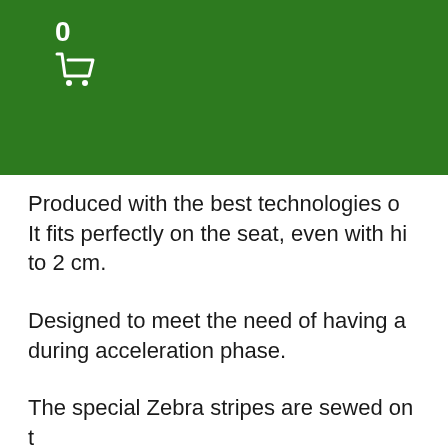0 [shopping cart icon]
Produced with the best technologies. It fits perfectly on the seat, even with hi to 2 cm.
Designed to meet the need of having a during acceleration phase.
The special Zebra stripes are sewed on t and are in relief.
Our test riders of the World Champions the following characteristics: